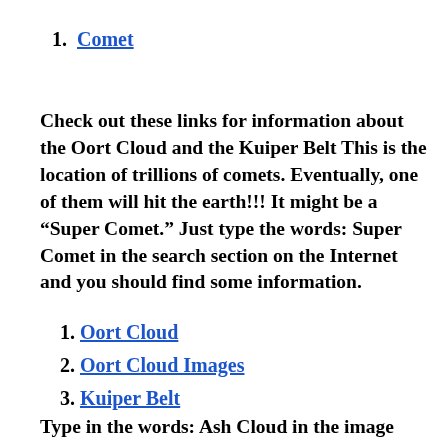1. Comet
Check out these links for information about the Oort Cloud and the Kuiper Belt This is the location of trillions of comets. Eventually, one of them will hit the earth!!! It might be a “Super Comet.” Just type the words: Super Comet in the search section on the Internet and you should find some information.
1. Oort Cloud
2. Oort Cloud Images
3. Kuiper Belt
Type in the words: Ash Cloud in the image